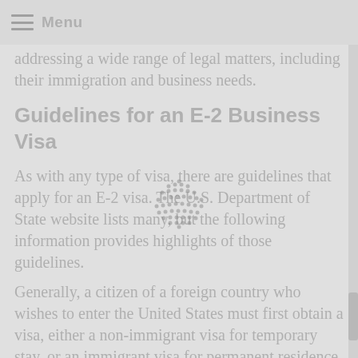Menu
addressing a wide range of legal matters, including their immigration and business needs.
Guidelines for an E-2 Business Visa
As with any type of visa, there are guidelines that apply for an E-2 visa. The U.S. Department of State website lists many, but the following information provides highlights of those guidelines.
Generally, a citizen of a foreign country who wishes to enter the United States must first obtain a visa, either a non-immigrant visa for temporary stay, or an immigrant visa for permanent residence.